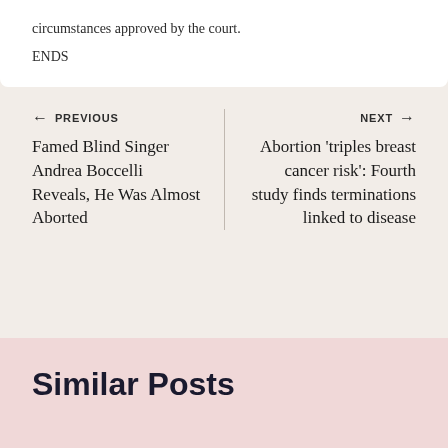circumstances approved by the court.
ENDS
← PREVIOUS
Famed Blind Singer Andrea Boccelli Reveals, He Was Almost Aborted
NEXT →
Abortion 'triples breast cancer risk': Fourth study finds terminations linked to disease
Similar Posts